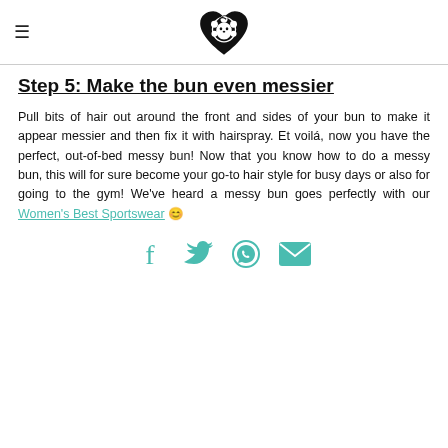[Women's Best logo]
Step 5: Make the bun even messier
Pull bits of hair out around the front and sides of your bun to make it appear messier and then fix it with hairspray. Et voilá, now you have the perfect, out-of-bed messy bun! Now that you know how to do a messy bun, this will for sure become your go-to hair style for busy days or also for going to the gym! We've heard a messy bun goes perfectly with our Women's Best Sportswear 😊
[Figure (other): Social sharing icons: Facebook, Twitter, WhatsApp, Email]